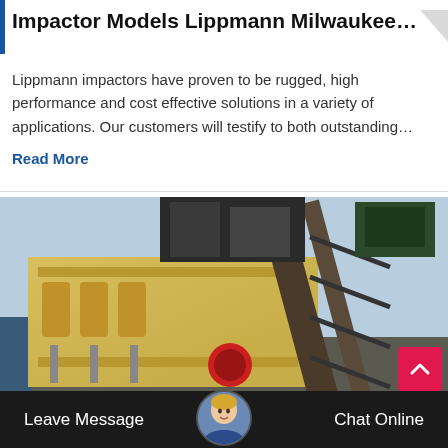Impactor Models Lippmann Milwaukee Rock C…
Lippmann impactors have proven to be rugged, high performance and cost effective solutions in a variety of applications. Our customers will testify to both outstanding…
Read More
[Figure (photo): Photograph of a large yellow Lippmann Milwaukee rock crusher/impactor machine on an industrial site, with a conveyor belt structure visible on the right side and a clear sky in the background.]
Leave Message   Chat Online